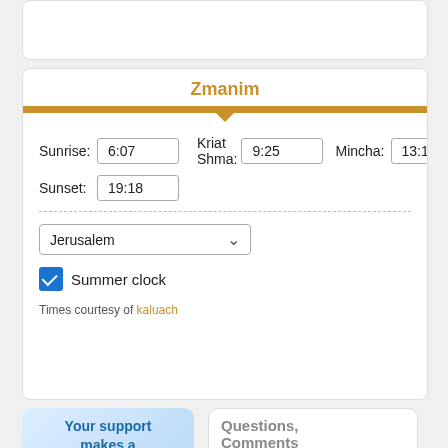Zmanim
Sunrise: 6:07   Kriat Shma: 9:25   Mincha: 13:15
Sunset: 19:18
Jerusalem
Summer clock
Times courtesy of kaluach
Your support makes a difference
Questions, Comments
CONTACT US